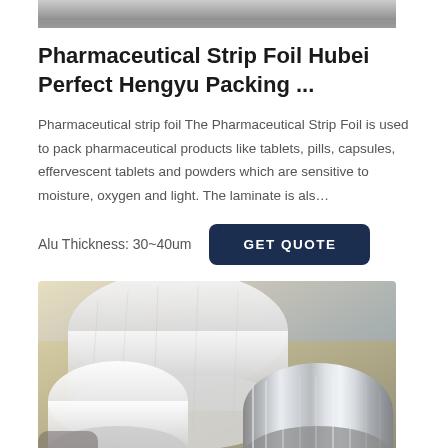[Figure (photo): Top portion of a product photo (partially visible) showing pharmaceutical strip foil or packaging material]
Pharmaceutical Strip Foil Hubei Perfect Hengyu Packing ...
Pharmaceutical strip foil The Pharmaceutical Strip Foil is used to pack pharmaceutical products like tablets, pills, capsules, effervescent tablets and powders which are sensitive to moisture, oxygen and light. The laminate is als…
Alu Thickness: 30~40um
[Figure (photo): Photo of rolls of pharmaceutical strip foil/aluminum foil packaging material, showing white plastic-wrapped rolls alongside a shiny metallic aluminum foil roll, in a cardboard box]